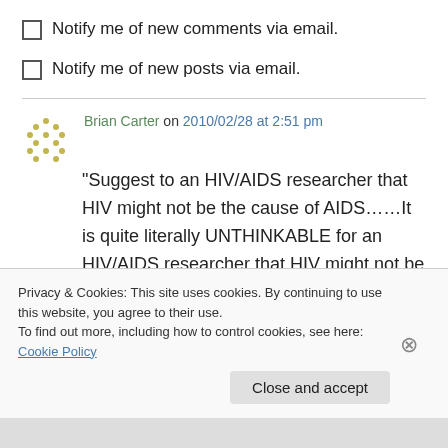Notify me of new comments via email.
Notify me of new posts via email.
Brian Carter on 2010/02/28 at 2:51 pm
“Suggest to an HIV/AIDS researcher that HIV might not be the cause of AIDS……It is quite literally UNTHINKABLE for an HIV/AIDS researcher that HIV might not be the cause of AIDS.”
Privacy & Cookies: This site uses cookies. By continuing to use this website, you agree to their use.
To find out more, including how to control cookies, see here: Cookie Policy